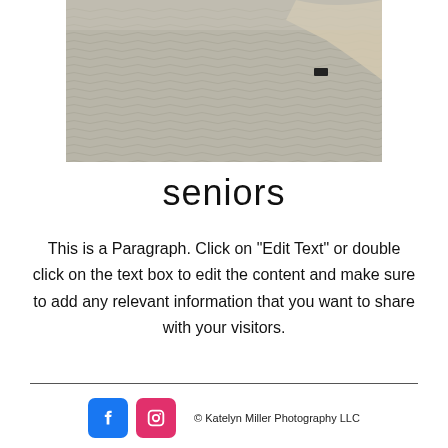[Figure (photo): Close-up photo of textured fabric with wavy patterns in gray/beige tones, with a hand partially visible in the upper right corner.]
seniors
This is a Paragraph. Click on "Edit Text" or double click on the text box to edit the content and make sure to add any relevant information that you want to share with your visitors.
© Katelyn Miller Photography LLC